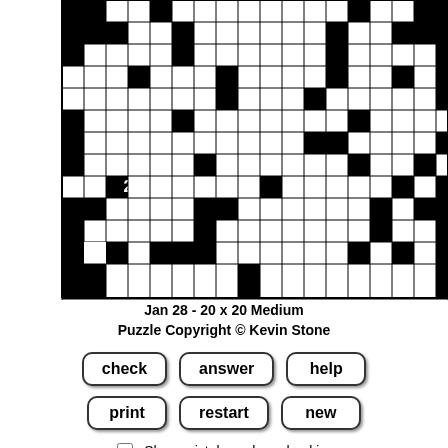[Figure (other): Partial view of a 20x20 crossword puzzle grid with black and white cells. Some white cells contain numbers: 1, 10, 2, 1, 0, 1, 0, 0, 1, 0, 3, 2, 0, 1 visible in various positions.]
Jan 28 - 20 x 20 Medium
Puzzle Copyright © Kevin Stone
check
answer
help
print
restart
new
Show mistakes when checking